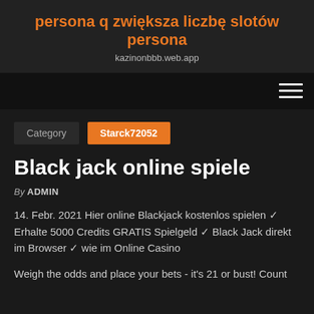persona q zwiększa liczbę slotów persona
kazinonbbb.web.app
Category  Starck72052
Black jack online spiele
By ADMIN
14. Febr. 2021 Hier online Blackjack kostenlos spielen ✓ Erhalte 5000 Credits GRATIS Spielgeld ✓  Black Jack direkt im Browser ✓  wie im Online Casino
Weigh the odds and place your bets - it's 21 or bust! Count